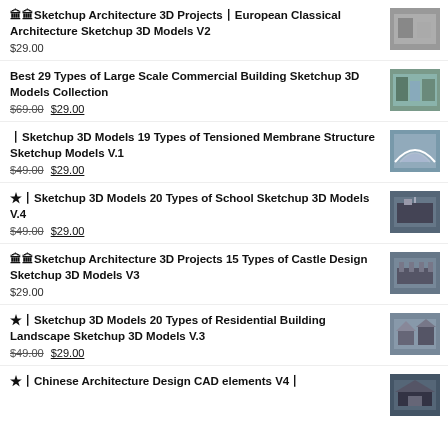🏛🏛Sketchup Architecture 3D Projects丨European Classical Architecture Sketchup 3D Models V2
$29.00
Best 29 Types of Large Scale Commercial Building Sketchup 3D Models Collection
$69.00 $29.00
丨Sketchup 3D Models  19 Types of Tensioned Membrane Structure Sketchup Models V.1
$49.00 $29.00
★丨Sketchup 3D Models  20 Types of School Sketchup 3D Models V.4
$49.00 $29.00
🏛🏛Sketchup Architecture 3D Projects  15 Types of Castle Design Sketchup 3D Models V3
$29.00
★丨Sketchup 3D Models  20 Types of Residential Building Landscape Sketchup 3D Models V.3
$49.00 $29.00
★丨Chinese Architecture Design CAD elements V4丨